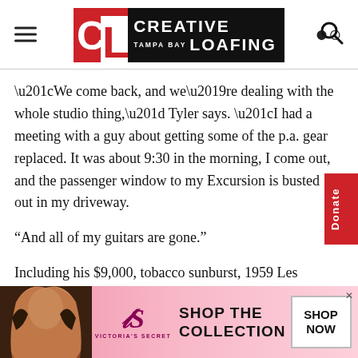[Figure (logo): Creative Loafing Tampa Bay logo with red CL box and black text block]
“We come back, and we’re dealing with the whole studio thing,” Tyler says. “I had a meeting with a guy about getting some of the p.a. gear replaced. It was about 9:30 in the morning, I come out, and the passenger window to my Excursion is busted out in my driveway.
“And all of my guitars are gone.”
Including his $9,000, tobacco sunburst, 1959 Les Paul reissue (2006), a custom-built Kraster guitar (cherry sunburst) valued at around $7,000, and the 2009 Les Paul
[Figure (infographic): Victoria's Secret advertisement banner with model, VS logo, SHOP THE COLLECTION text, and SHOP NOW button]